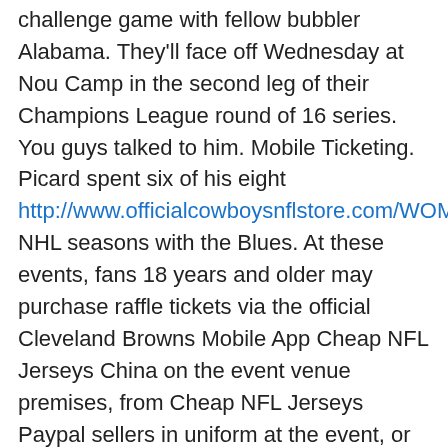challenge game with fellow bubbler Alabama. They'll face off Wednesday at Nou Camp in the second leg of their Champions League round of 16 series. You guys talked to him. Mobile Ticketing. Picard spent six of his eight http://www.officialcowboysnflstore.com/WOMENS_YOUTH NHL seasons with the Blues. At these events, fans 18 years and older may purchase raffle tickets via the official Cleveland Browns Mobile App Cheap NFL Jerseys China on the event venue premises, from Cheap NFL Jerseys Paypal sellers in uniform at the event, or at the designated kiosks at the event.
DJ Laster finished with 17 points and nine rebounds, David Efianayi had 16 points and six assists and Nate Johnson scored 15 for Gardner-Webb . 'Stop drinking your calories; there is no nutrition there, and it doesn't fill you up, making it harder for you to recognize when